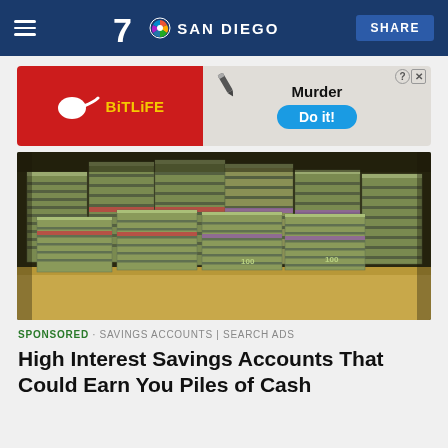7 NBC SAN DIEGO | SHARE
[Figure (screenshot): BitLife advertisement banner with red left section showing BitLife logo and right section showing 'Murder Do it!' text on blue pill button]
[Figure (photo): Large stacks of US dollar bills bundled together piled high on a surface]
SPONSORED · SAVINGS ACCOUNTS | SEARCH ADS
High Interest Savings Accounts That Could Earn You Piles of Cash